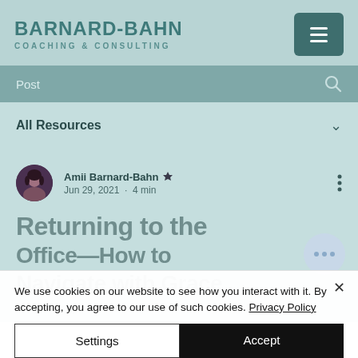BARNARD-BAHN COACHING & CONSULTING
Post
All Resources
Amii Barnard-Bahn [admin crown] Jun 29, 2021 · 4 min
Returning to the Office—How to Navigate with Grace
Just as many of us have settled i...
We use cookies on our website to see how you interact with it. By accepting, you agree to our use of such cookies. Privacy Policy
Settings | Accept